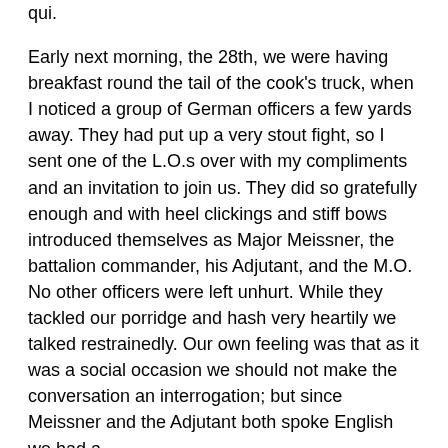qui. Early next morning, the 28th, we were having breakfast round the tail of the cook's truck, when I noticed a group of German officers a few yards away. They had put up a very stout fight, so I sent one of the L.O.s over with my compliments and an invitation to join us. They did so gratefully enough and with heel clickings and stiff bows introduced themselves as Major Meissner, the battalion commander, his Adjutant, and the M.O. No other officers were left unhurt. While they tackled our porridge and hash very heartily we talked restrainedly. Our own feeling was that as it was a social occasion we should not make the conversation an interrogation; but since Meissner and the Adjutant both spoke English we had a